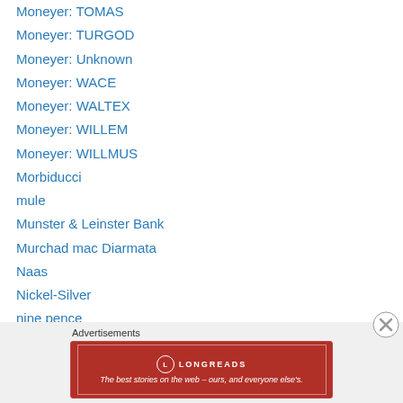Moneyer: TOMAS
Moneyer: TURGOD
Moneyer: Unknown
Moneyer: WACE
Moneyer: WALTEX
Moneyer: WILLEM
Moneyer: WILLMUS
Morbiducci
mule
Munster & Leinster Bank
Murchad mac Diarmata
Naas
Nickel-Silver
nine pence
Northumbria
notophily
[Figure (other): Longreads advertisement banner — red background with Longreads logo and tagline 'The best stories on the web — ours, and everyone else's.']